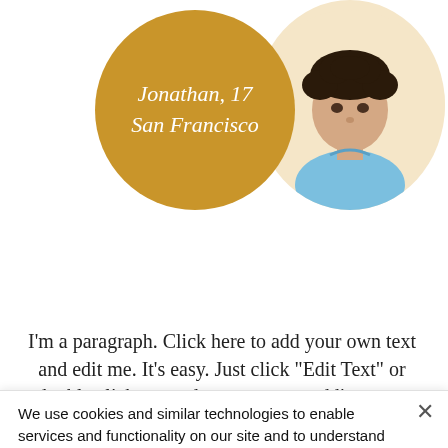[Figure (illustration): Golden/yellow circle with italic white text 'Jonathan, 17 San Francisco' overlapping with a circular photo of a young man with curly dark hair on a peach/cream background]
I'm a paragraph. Click here to add your own text and edit me. It's easy. Just click “Edit Text” or double click me and you can start adding your own content and make changes to
We use cookies and similar technologies to enable services and functionality on our site and to understand your interaction with our service. By clicking on accept, you agree to our use of such technologies for marketing and analytics. See Privacy Policy
Cookie Settings
Accept